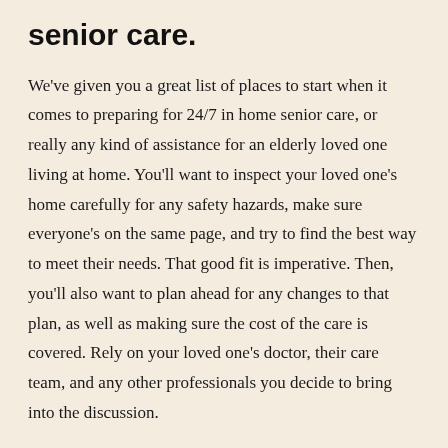senior care.
We've given you a great list of places to start when it comes to preparing for 24/7 in home senior care, or really any kind of assistance for an elderly loved one living at home. You'll want to inspect your loved one's home carefully for any safety hazards, make sure everyone's on the same page, and try to find the best way to meet their needs. That good fit is imperative. Then, you'll also want to plan ahead for any changes to that plan, as well as making sure the cost of the care is covered. Rely on your loved one's doctor, their care team, and any other professionals you decide to bring into the discussion.
At the end of the day, these suggestions are barely scratching the surface when it comes to making sure you're securing the right assistance for your elderly loved one living at home. You'll likely